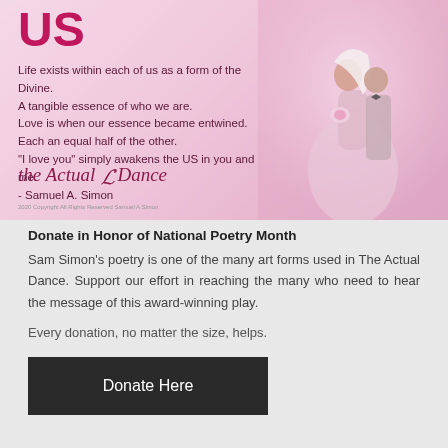[Figure (illustration): Promotional poster with pink gradient background, large bold 'US' title in magenta, a poem by Samuel A. Simon, 'the Actual Dance' branding, and a sepia-toned wedding couple photo on the right]
Donate in Honor of National Poetry Month
Sam Simon's poetry is one of the many art forms used in The Actual Dance. Support our effort in reaching the many who need to hear the message of this award-winning play.
Every donation, no matter the size, helps.
Donate Here